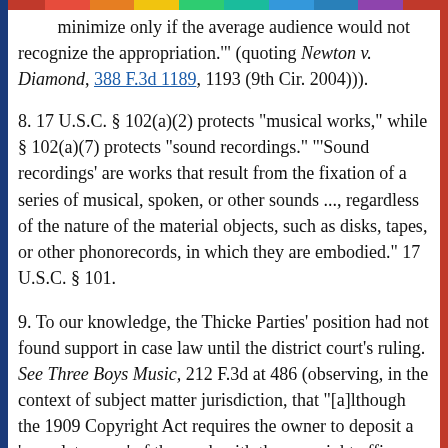minimize only if the average audience would not recognize the appropriation.'" (quoting Newton v. Diamond, 388 F.3d 1189, 1193 (9th Cir. 2004))).
8. 17 U.S.C. § 102(a)(2) protects "musical works," while § 102(a)(7) protects "sound recordings." "'Sound recordings' are works that result from the fixation of a series of musical, spoken, or other sounds ..., regardless of the nature of the material objects, such as disks, tapes, or other phonorecords, in which they are embodied." 17 U.S.C. § 101.
9. To our knowledge, the Thicke Parties' position had not found support in case law until the district court's ruling. See Three Boys Music, 212 F.3d at 486 (observing, in the context of subject matter jurisdiction, that "[a]lthough the 1909 Copyright Act requires the owner to deposit a 'complete copy' of the work with the copyright office, our definition of a 'complete copy' is broad and deferentially)...